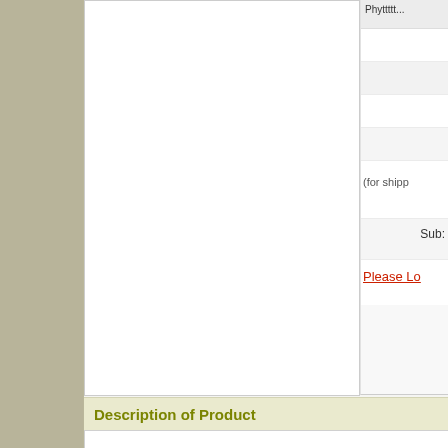[Figure (photo): White empty product image area (cropped, top portion of page)]
(for shipp
Sub:
Please Lo
Description of Product
Rough start on the A-side.
Image Gallery
[Figure (photo): Close-up photograph of a vintage vinyl record label showing a dark red/maroon circular label with gold lettering showing 'Ok' or 'OKeh' on a dark green background with visible scratches.]